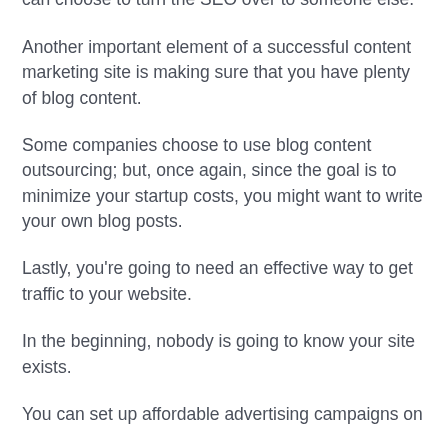Once your business is bringing in some money, you can choose to turn the SEO over to someone else.
Another important element of a successful content marketing site is making sure that you have plenty of blog content.
Some companies choose to use blog content outsourcing; but, once again, since the goal is to minimize your startup costs, you might want to write your own blog posts.
Lastly, you're going to need an effective way to get traffic to your website.
In the beginning, nobody is going to know your site exists.
You can set up affordable advertising campaigns on